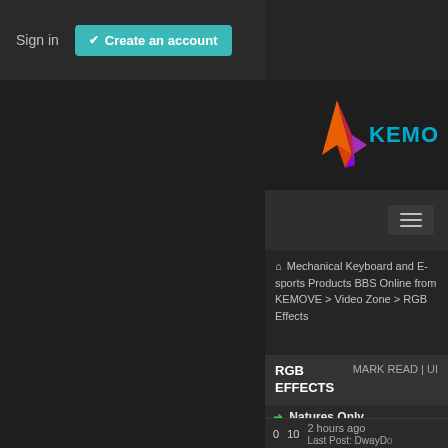Sign in
Create an account
[Figure (logo): KEMOVE logo with colorful arrow/triangle mark and teal KEMOVE text]
[Figure (other): Hamburger menu button (three horizontal lines)]
Mechanical Keyboard and E-sports Products BBS Online from KEMOVE > Video Zone > RGB Effects
RGB EFFECTS    MARK READ | UI
Natures Only Gummies
Topic started by DwayDodd
0    10    2 hours ago
Last Post: DwayDo